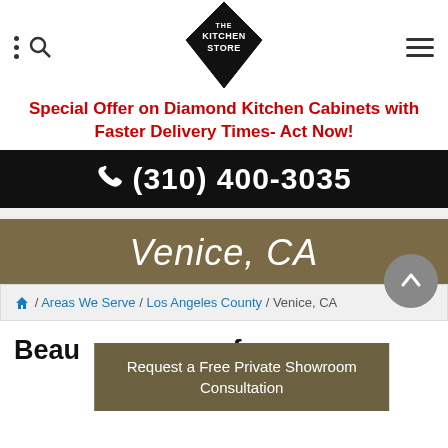[Figure (logo): The Kitchen Store diamond-shaped logo with text inside]
Special Offer on Diamond Kitchen Cabinets with Faster Delivery Times- Act Now!
(310) 400-3035
Venice, CA
/ Areas We Serve / Los Angeles County / Venice, CA
Request a Free Private Showroom Consultation
Beau... s for